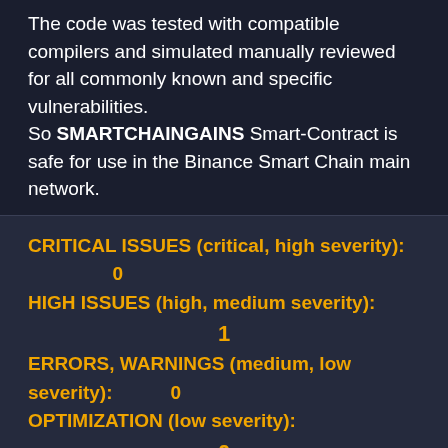The code was tested with compatible compilers and simulated manually reviewed for all commonly known and specific vulnerabilities. So SMARTCHAINGAINS Smart-Contract is safe for use in the Binance Smart Chain main network.
CRITICAL ISSUES (critical, high severity): 0
HIGH ISSUES (high, medium severity): 1
ERRORS, WARNINGS (medium, low severity): 0
OPTIMIZATION (low severity): 0
RECOMMENDATIONS (very low